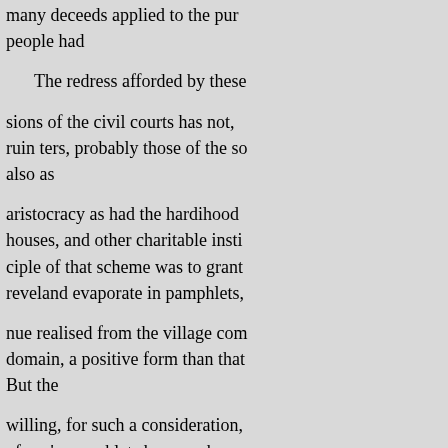many deceeds applied to the pur people had

The redress afforded by these

sions of the civil courts has not, ruin ters, probably those of the so also as

aristocracy as had the hardihood houses, and other charitable insti ciple of that scheme was to grant reveland evaporate in pamphlets,

nue realised from the village com domain, a positive form than that But the

willing, for such a consideration, of son's pamphlet shows us how

his hereditary position. Many of

these men, or their immediate pr

cessors, bad rendered us great se acquired the resumed, of late yea extensive inquiry has been of a f irresistible advance they were o